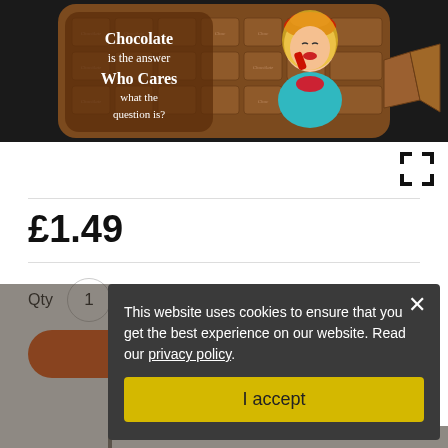[Figure (photo): Product photo of a luggage tag shaped like a chocolate bar. The tag features a retro pin-up woman on a phone and text reading 'Chocolate is the answer Who Cares what the question is?' on a brown chocolate-bar background.]
[Figure (other): Fullscreen/expand icon (four arrows pointing outward) in the top-right area below the product image.]
£1.49
Qty  1
This website uses cookies to ensure that you get the best experience on our website. Read our privacy policy.
I accept